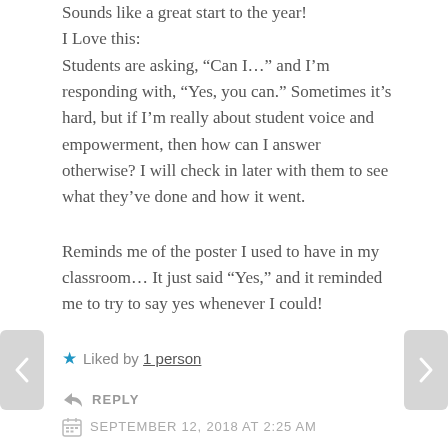Sounds like a great start to the year!
I Love this:
Students are asking, “Can I…” and I’m responding with, “Yes, you can.” Sometimes it’s hard, but if I’m really about student voice and empowerment, then how can I answer otherwise? I will check in later with them to see what they’ve done and how it went.
Reminds me of the poster I used to have in my classroom… It just said “Yes,” and it reminded me to try to say yes whenever I could!
★ Liked by 1person
REPLY
SEPTEMBER 12, 2018 AT 2:25 AM